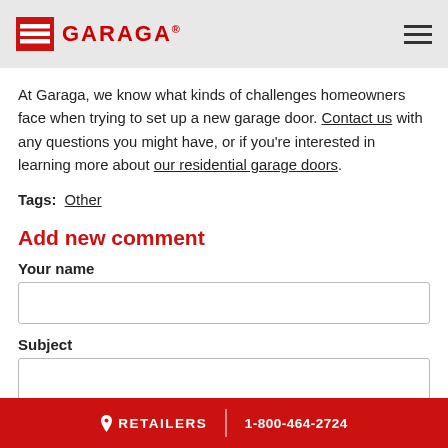GARAGA
At Garaga, we know what kinds of challenges homeowners face when trying to set up a new garage door. Contact us with any questions you might have, or if you're interested in learning more about our residential garage doors.
Tags: Other
Add new comment
Your name
Subject
RETAILERS  1-800-464-2724